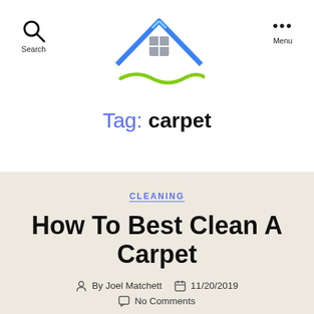[Figure (logo): House logo with blue roof, grey window grid, and green wave beneath]
Search   Menu
Tag: carpet
CLEANING
How To Best Clean A Carpet
By Joel Matchett   11/20/2019
No Comments